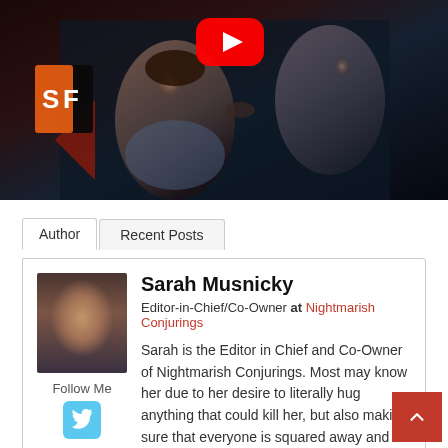[Figure (screenshot): YouTube video thumbnail showing two people in a dark horror scene, with a YouTube play button at the top center and an SF (ScreenFrenzy) logo badge in the lower left of the video area]
Author | Recent Posts
Sarah Musnicky
Editor-in-Chief/Co-Owner at Nightmarish Conjurings
Sarah is the Editor in Chief and Co-Owner of Nightmarish Conjurings. Most may know her due to her desire to literally hug anything that could kill her, but also making sure that everyone is squared away and sanity is in
Follow Me